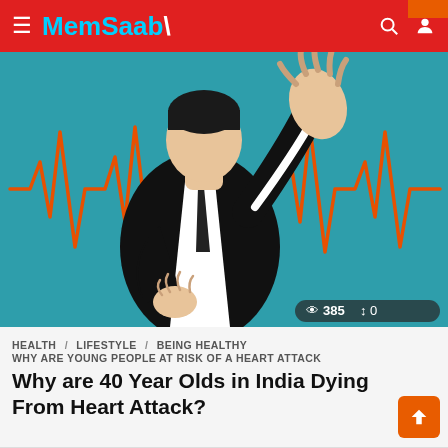MemSaab
[Figure (illustration): Illustration of a person in a black suit grabbing their chest with one hand raised, superimposed over a teal background with orange ECG/heartbeat waveforms on the left and right sides. View count overlay: eye icon 385, share icon 0.]
HEALTH / LIFESTYLE / BEING HEALTHY
WHY ARE YOUNG PEOPLE AT RISK OF A HEART ATTACK
Why are 40 Year Olds in India Dying From Heart Attack?